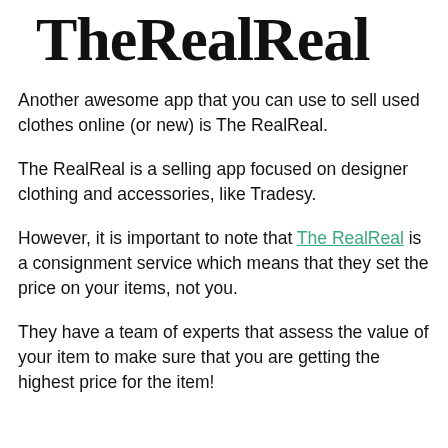[Figure (logo): The RealReal logo in large bold serif font]
Another awesome app that you can use to sell used clothes online (or new) is The RealReal.
The RealReal is a selling app focused on designer clothing and accessories, like Tradesy.
However, it is important to note that The RealReal is a consignment service which means that they set the price on your items, not you.
They have a team of experts that assess the value of your item to make sure that you are getting the highest price for the item!